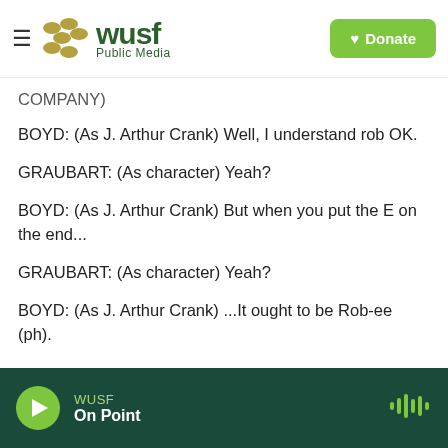[Figure (logo): WUSF Public Media logo with hamburger menu icon and green Donate button]
COMPANY)
BOYD: (As J. Arthur Crank) Well, I understand rob OK.
GRAUBART: (As character) Yeah?
BOYD: (As J. Arthur Crank) But when you put the E on the end...
GRAUBART: (As character) Yeah?
BOYD: (As J. Arthur Crank) ...It ought to be Rob-ee (ph).
WUSF | On Point